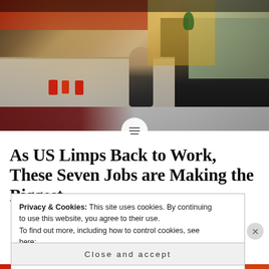[Figure (photo): Interior of a fast food restaurant showing a counter with red packaging/bags, menu boards overhead, a person standing at the counter, dark booths on the right side, and tiled floor.]
As US Limps Back to Work, These Seven Jobs are Making the Biggest
Privacy & Cookies: This site uses cookies. By continuing to use this website, you agree to their use.
To find out more, including how to control cookies, see here:
Cookie Policy
Close and accept